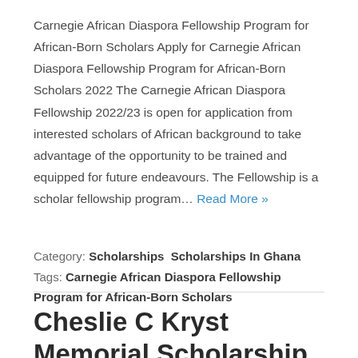Carnegie African Diaspora Fellowship Program for African-Born Scholars Apply for Carnegie African Diaspora Fellowship Program for African-Born Scholars 2022 The Carnegie African Diaspora Fellowship 2022/23 is open for application from interested scholars of African background to take advantage of the opportunity to be trained and equipped for future endeavours. The Fellowship is a scholar fellowship program… Read More »
Category: Scholarships  Scholarships In Ghana  Tags: Carnegie African Diaspora Fellowship Program for African-Born Scholars
Cheslie C Kryst Memorial Scholarship